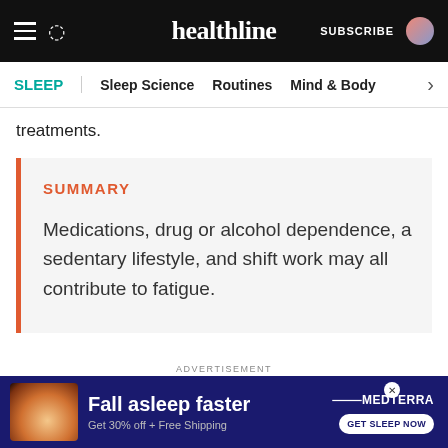healthline — SUBSCRIBE
SLEEP | Sleep Science | Routines | Mind & Body
treatments.
SUMMARY
Medications, drug or alcohol dependence, a sedentary lifestyle, and shift work may all contribute to fatigue.
ADVERTISEMENT
Fall asleep faster Get 30% off + Free Shipping MEDTERRA GET SLEEP NOW